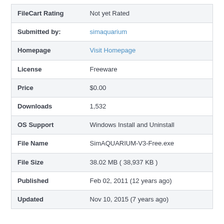| Field | Value |
| --- | --- |
| FileCart Rating | Not yet Rated |
| Submitted by: | simaquarium |
| Homepage | Visit Homepage |
| License | Freeware |
| Price | $0.00 |
| Downloads | 1,532 |
| OS Support | Windows Install and Uninstall |
| File Name | SimAQUARIUM-V3-Free.exe |
| File Size | 38.02 MB ( 38,937 KB ) |
| Published | Feb 02, 2011 (12 years ago) |
| Updated | Nov 10, 2015 (7 years ago) |